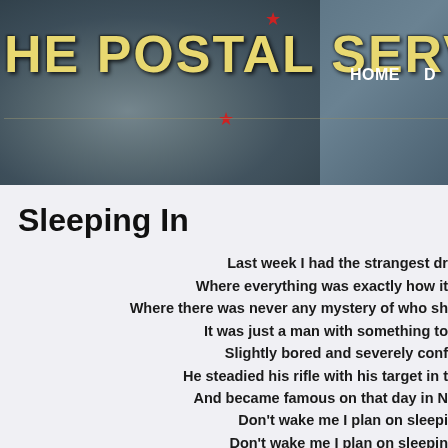[Figure (screenshot): Website header banner for 'The Postal Service' with dark teal/blue background, stylized gold art-deco title text, red star decorations, and a faded portrait photo in the background. Navigation links HOME and D visible at top right.]
Sleeping In
Last week I had the strangest dr
Where everything was exactly how it
Where there was never any mystery of who sh
It was just a man with something to
Slightly bored and severely conf
He steadied his rifle with his target in t
And became famous on that day in N
Don't wake me I plan on sleepi
Don't wake me I plan on sleepin
Don't wake me I plan on sleepi
Don't wake me I plan on sleepin
Again last night I had that strange